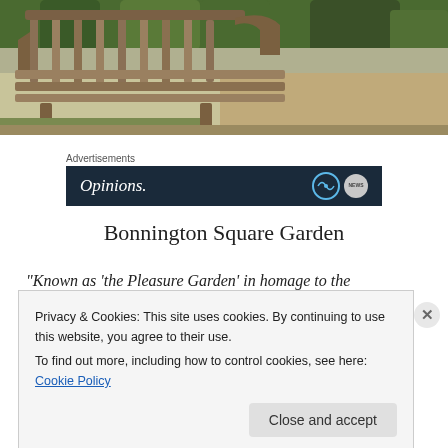[Figure (photo): Outdoor wooden park bench on sandy/dirt ground with green foliage in background]
Advertisements
[Figure (screenshot): Advertisement banner with dark navy background showing 'Opinions.' text in italic white serif font with WordPress logo and news badge icon]
Bonnington Square Garden
“Known as ‘the Pleasure Garden’ in homage to the
Privacy & Cookies: This site uses cookies. By continuing to use this website, you agree to their use.
To find out more, including how to control cookies, see here: Cookie Policy
Close and accept